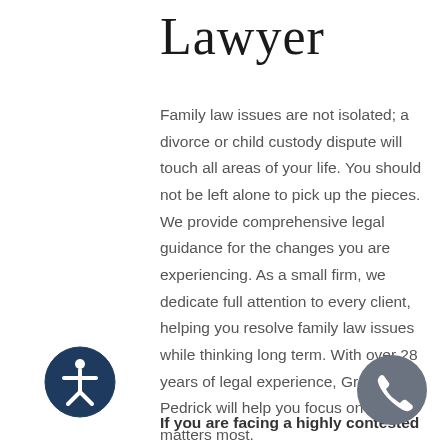Lawyer
Family law issues are not isolated; a divorce or child custody dispute will touch all areas of your life. You should not be left alone to pick up the pieces. We provide comprehensive legal guidance for the changes you are experiencing. As a small firm, we dedicate full attention to every client, helping you resolve family law issues while thinking long term. With over 28 years of legal experience, Gregory J. Pedrick will help you focus on what matters most.
If you are facing a highly contested